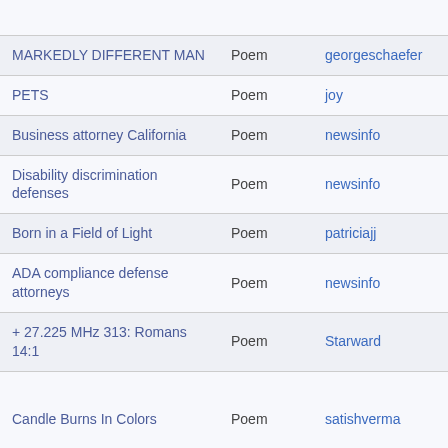| Title | Type | Author | Num | Tags |
| --- | --- | --- | --- | --- |
|  |  |  |  | Schwetz... |
| MARKEDLY DIFFERENT MAN | Poem | georgeschaefer |  | #man #di... |
| PETS | Poem | joy |  | #pets |
| Business attorney California | Poem | newsinfo |  | Business... |
| Disability discrimination defenses | Poem | newsinfo |  | discrimin... |
| Born in a Field of Light | Poem | patriciajj | 18 |  |
| ADA compliance defense attorneys | Poem | newsinfo |  | defense a... |
| + 27.225 MHz 313: Romans 14:1 | Poem | Starward | 2 |  |
| Candle Burns In Colors | Poem | satishverma |  | # #betray... #forgiven... #sadness... #madnes... |